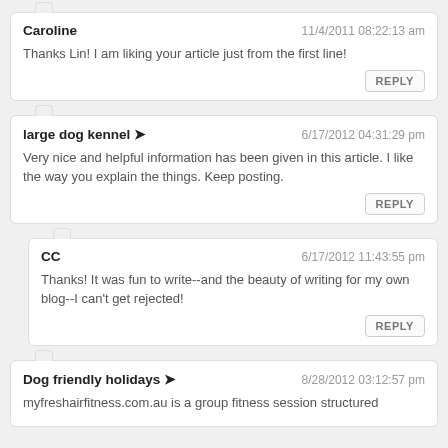Caroline — 11/4/2011 08:22:13 am
Thanks Lin! I am liking your article just from the first line!
large dog kennel → — 6/17/2012 04:31:29 pm
Very nice and helpful information has been given in this article. I like the way you explain the things. Keep posting.
CC — 6/17/2012 11:43:55 pm
Thanks! It was fun to write--and the beauty of writing for my own blog--I can't get rejected!
Dog friendly holidays → — 8/28/2012 03:12:57 pm
myfreshairfitness.com.au is a group fitness session structured...